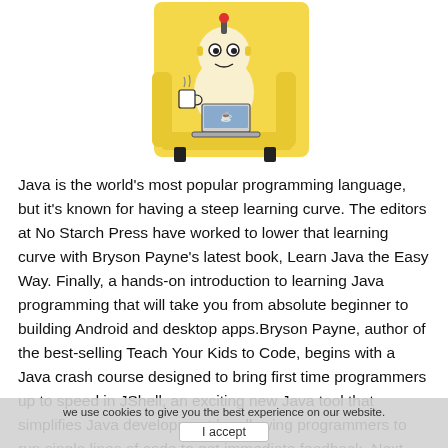[Figure (illustration): Cartoon illustration of a robot or character sitting in a yellow armchair, working on a laptop, holding a coffee cup, with a yellow background.]
Java is the world's most popular programming language, but it's known for having a steep learning curve. The editors at No Starch Press have worked to lower that learning curve with Bryson Payne's latest book, Learn Java the Easy Way. Finally, a hands-on introduction to learning Java programming that will take you from absolute beginner to building Android and desktop apps.Bryson Payne, author of the best-selling Teach Your Kids to Code, begins with a Java crash course designed to bring first time programmers up to speed in JShell, an exciting new Java tool that simplifies Java development by allowing programmers to run single lines of code to get immediate feedback. Next, Payne takes you step-by-step through creating Java-based mobile and desktop apps including a guessing game,
we use cookies to give you the best experience on our website.
I accept